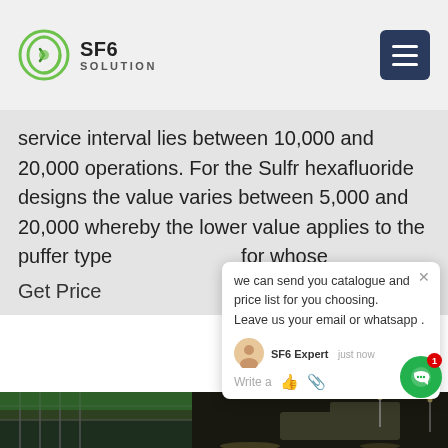[Figure (logo): SF6 Solution logo with circular green icon and text 'SF6 SOLUTION']
[Figure (other): Dark blue hamburger menu button (three horizontal lines)]
service interval lies between 10,000 and 20,000 operations. For the Sulfr hexafluoride designs the value varies between 5,000 and 20,000 whereby the lower value applies to the puffer type for whose
Get Price
[Figure (other): Chat popup with message: 'we can send you catalogue and price list for you choosing. Leave us your email or whatsapp .' With close button, SF6 Expert avatar, 'just now' timestamp, and 'Write a' input area with thumbs up and paperclip icons.]
[Figure (photo): Night photo showing industrial/construction site on left with scaffolding and green covering, and a truck/vehicle on right side, with street lights visible in background against dark sky.]